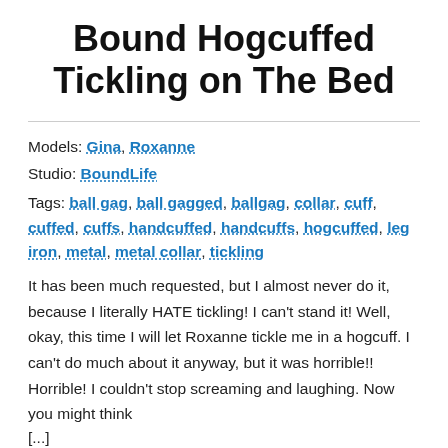Bound Hogcuffed Tickling on The Bed
Models: Gina, Roxanne
Studio: BoundLife
Tags: ball gag, ball gagged, ballgag, collar, cuff, cuffed, cuffs, handcuffed, handcuffs, hogcuffed, leg iron, metal, metal collar, tickling
It has been much requested, but I almost never do it, because I literally HATE tickling! I can't stand it! Well, okay, this time I will let Roxanne tickle me in a hogcuff. I can't do much about it anyway, but it was horrible!! Horrible! I couldn't stop screaming and laughing. Now you might think [...]